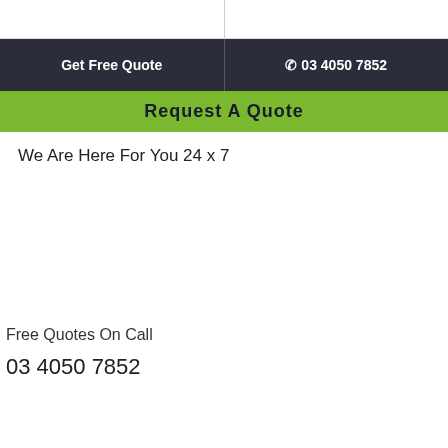Get Free Quote | 03 4050 7852
Request A Quote
We Are Here For You 24 x 7
Free Quotes On Call
03 4050 7852